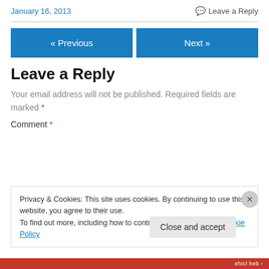January 16, 2013
Leave a Reply
« Previous
Next »
Leave a Reply
Your email address will not be published. Required fields are marked *
Comment *
Privacy & Cookies: This site uses cookies. By continuing to use this website, you agree to their use.
To find out more, including how to control cookies, see here: Cookie Policy
Close and accept